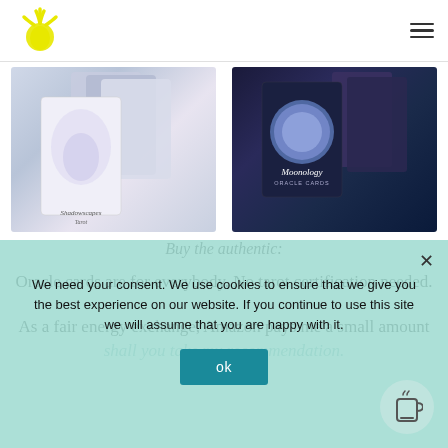[Figure (screenshot): Website header with yellow hand/wave logo on left and hamburger menu icon on right]
[Figure (photo): Two oracle card deck product images side by side: left shows Shadowscapes Tarot deck with fantasy artwork, right shows Moonology Oracle Cards with moon imagery]
Buy the authentic:
Oracle cards are for everybody. No tarot certification needed.
As a fair energy exchange, Amazon pays me a small amount shall you take my recommendation.
We need your consent. We use cookies to ensure that we give you the best experience on our website. If you continue to use this site we will assume that you are happy with it.
ok